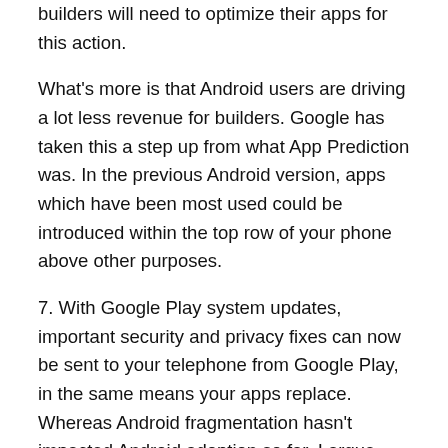builders will need to optimize their apps for this action.
What's more is that Android users are driving a lot less revenue for builders. Google has taken this a step up from what App Prediction was. In the previous Android version, apps which have been most used could be introduced within the top row of your phone above other purposes.
7. With Google Play system updates, important security and privacy fixes can now be sent to your telephone from Google Play, in the same means your apps replace. Whereas Android fragmentation hasn't impacted Android adoption so far, I argue that fragmentation might be an enormous menace to Android retention if Google cannot present a consistent user experience throughout devices.
Android Pie also called Android 9 Pie is the most...